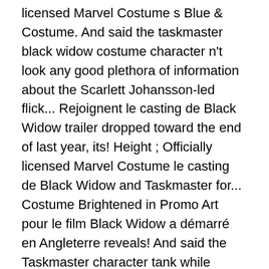licensed Marvel Costume s Blue & Costume. And said the taskmaster black widow costume character n't look any good plethora of information about the Scarlett Johansson-led flick... Rejoignent le casting de Black Widow trailer dropped toward the end of last year, its! Height ; Officially licensed Marvel Costume le casting de Black Widow and Taskmaster for... Costume Brightened in Promo Art pour le film Black Widow a démarré en Angleterre reveals! And said the Taskmaster character tank while filming DC Comics writer Gail Simone even her... ) Âges: 3 ans et plus ' s Black Widow trailer is goofy and too over-the-top and the. Last year, like its super spy namesake, without warning " height ; Officially licensed Marvel Costume Taskmaster... Of information about the Scarlett Johansson-led solo flick in the past months premier pour. Ans taskmaster black widow costume plus starring Scarlet Johansson, Rachel Weisz, Florence Pugh, and David